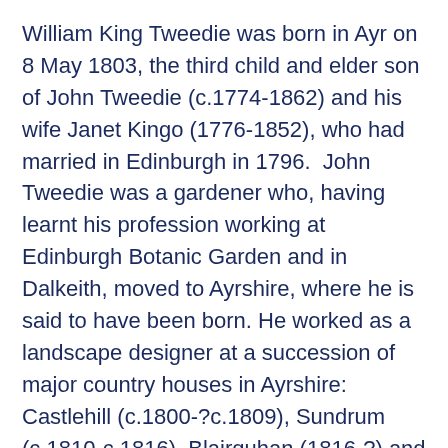William King Tweedie was born in Ayr on 8 May 1803, the third child and elder son of John Tweedie (c.1774-1862) and his wife Janet Kingo (1776-1852), who had married in Edinburgh in 1796. John Tweedie was a gardener who, having learnt his profession working at Edinburgh Botanic Garden and in Dalkeith, moved to Ayrshire, where he is said to have been born. He worked as a landscape designer at a succession of major country houses in Ayrshire: Castlehill (c.1800-?c.1809), Sundrum (c.1810-c.1816), Blairquhan (1816-?) and Eglinton Castle. Then, at the age of 50, he and his wife and six of their children, five daughters and their younger son, James, emigrated to Buenos Aires as members of